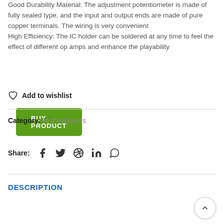Good Durability Material: The adjustment potentiometer is made of fully sealed type, and the input and output ends are made of pure copper terminals. The wiring is very convenient
High Efficiency: The IC holder can be soldered at any time to feel the effect of different op amps and enhance the playability
BUY PRODUCT
Add to wishlist
Category: Motherboards
Share:
DESCRIPTION